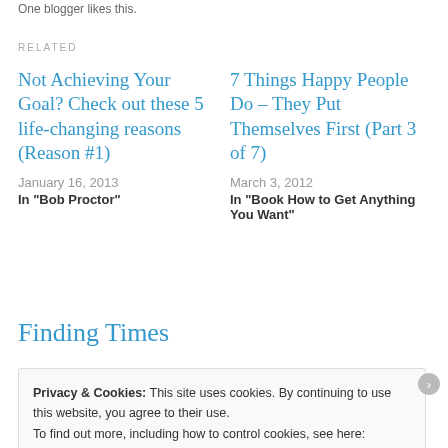One blogger likes this.
RELATED
Not Achieving Your Goal? Check out these 5 life-changing reasons (Reason #1)
January 16, 2013
In "Bob Proctor"
7 Things Happy People Do – They Put Themselves First (Part 3 of 7)
March 3, 2012
In "Book How to Get Anything You Want"
Finding Times
Privacy & Cookies: This site uses cookies. By continuing to use this website, you agree to their use.
To find out more, including how to control cookies, see here:
Cookie Policy
Close and accept